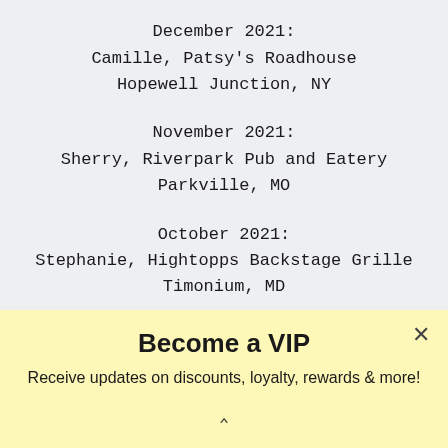December 2021:
Camille, Patsy's Roadhouse
Hopewell Junction, NY
November 2021:
Sherry, Riverpark Pub and Eatery
Parkville, MO
October 2021:
Stephanie, Hightopps Backstage Grille
Timonium, MD
Become a VIP
Receive updates on discounts, loyalty, rewards & more!